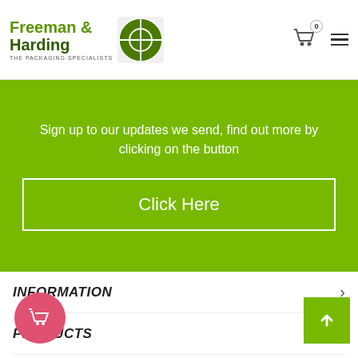[Figure (logo): Freeman & Harding The Packaging Specialists logo with green circular icon]
Sign up to our updates we send, find out more by clicking on the button
Click Here
INFORMATION
PRODUCTS
YOUR ACCOUNT
LOCATION